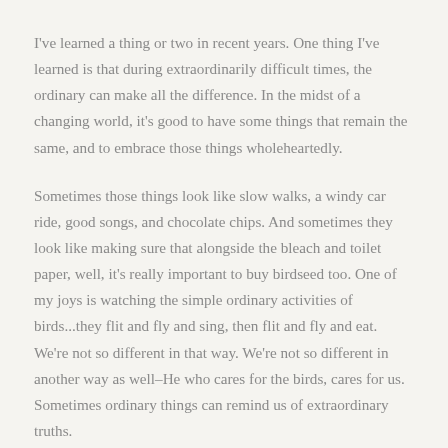I've learned a thing or two in recent years. One thing I've learned is that during extraordinarily difficult times, the ordinary can make all the difference. In the midst of a changing world, it's good to have some things that remain the same, and to embrace those things wholeheartedly.
Sometimes those things look like slow walks, a windy car ride, good songs, and chocolate chips. And sometimes they look like making sure that alongside the bleach and toilet paper, well, it's really important to buy birdseed too. One of my joys is watching the simple ordinary activities of birds...they flit and fly and sing, then flit and fly and eat. We're not so different in that way. We're not so different in another way as well–He who cares for the birds, cares for us. Sometimes ordinary things can remind us of extraordinary truths.